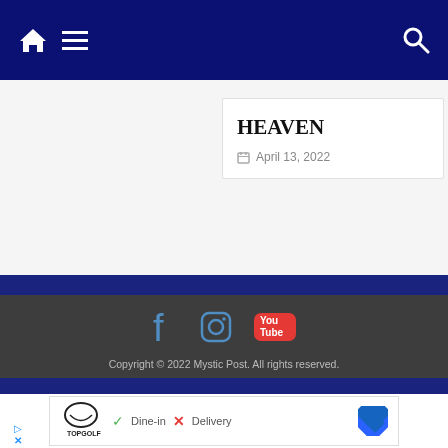Navigation bar with home, menu, and search icons
HEAVEN
April 13, 2022
Copyright © 2022 Mystic Post. All rights reserved. Theme: ColorMag Pro by ThemeGrill. Powered by WordPress.
[Figure (screenshot): Advertisement banner for TopGolf showing Dine-in and Delivery options with navigation arrow icon]